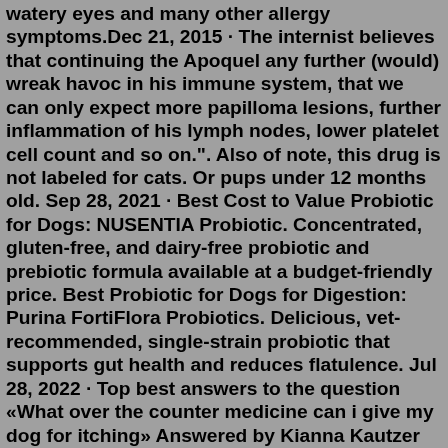watery eyes and many other allergy symptoms.Dec 21, 2015 · The internist believes that continuing the Apoquel any further (would) wreak havoc in his immune system, that we can only expect more papilloma lesions, further inflammation of his lymph nodes, lower platelet cell count and so on.". Also of note, this drug is not labeled for cats. Or pups under 12 months old. Sep 28, 2021 · Best Cost to Value Probiotic for Dogs: NUSENTIA Probiotic. Concentrated, gluten-free, and dairy-free probiotic and prebiotic formula available at a budget-friendly price. Best Probiotic for Dogs for Digestion: Purina FortiFlora Probiotics. Delicious, vet-recommended, single-strain probiotic that supports gut health and reduces flatulence. Jul 28, 2022 · Top best answers to the question «What over the counter medicine can i give my dog for itching» Answered by Kianna Kautzer on Fri, Jul 2, 2021 3:57 AM These are great, easy-going drugs used for common cases of the itches or the first sign of hives. Best Antihistamines for Dogs: Benadryl is very effective in controlling itching,